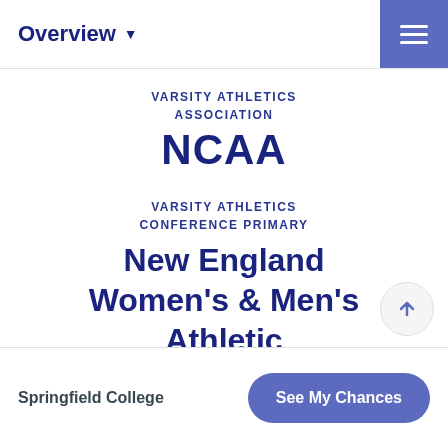Overview ▾
VARSITY ATHLETICS ASSOCIATION
NCAA
VARSITY ATHLETICS CONFERENCE PRIMARY
New England Women's & Men's Athletic Conference
Springfield College  |  See My Chances